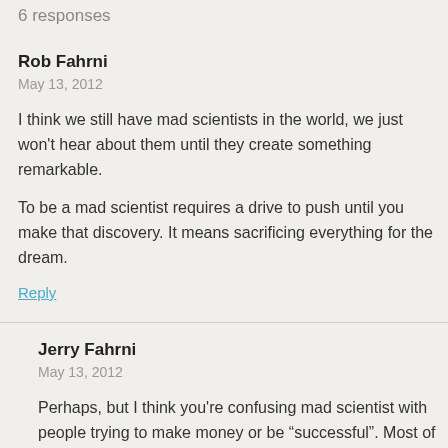6 responses
Rob Fahrni
May 13, 2012
I think we still have mad scientists in the world, we just won't hear about them until they create something remarkable.
To be a mad scientist requires a drive to push until you make that discovery. It means sacrificing everything for the dream.
Reply
Jerry Fahrni
May 13, 2012
Perhaps, but I think you're confusing mad scientist with people trying to make money or be “successful”. Most of the people I've met throughout my life and career that I'd consider a mad scientist we driven by curiosity rather than “sacrificing everything for the dream”. I've met a